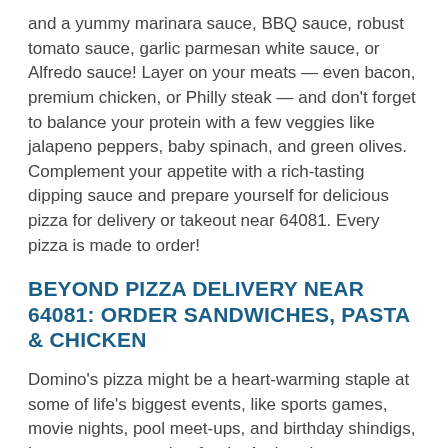and a yummy marinara sauce, BBQ sauce, robust tomato sauce, garlic parmesan white sauce, or Alfredo sauce! Layer on your meats — even bacon, premium chicken, or Philly steak — and don't forget to balance your protein with a few veggies like jalapeno peppers, baby spinach, and green olives. Complement your appetite with a rich-tasting dipping sauce and prepare yourself for delicious pizza for delivery or takeout near 64081. Every pizza is made to order!
BEYOND PIZZA DELIVERY NEAR 64081: ORDER SANDWICHES, PASTA & CHICKEN
Domino's pizza might be a heart-warming staple at some of life's biggest events, like sports games, movie nights, pool meet-ups, and birthday shindigs, but so are many other foods. And we know your tastebuds crave something a little different every now and then. It's one reason we also serve up baked pasta, chicken wings, salads, hot sandwiches, and sweet-tooth approved desserts for delivery and takeout near 64081. Fill up on yummy bites of crispy breaded chicken covered in BBQ sauce, or get oven-baked chicken wings that you can dip your way in blue